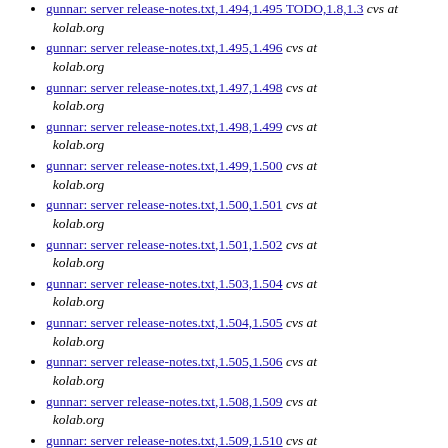gunnar: server release-notes.txt,1.494,1.495 TODO,1.8,1.3 cvs at kolab.org
gunnar: server release-notes.txt,1.495,1.496 cvs at kolab.org
gunnar: server release-notes.txt,1.497,1.498 cvs at kolab.org
gunnar: server release-notes.txt,1.498,1.499 cvs at kolab.org
gunnar: server release-notes.txt,1.499,1.500 cvs at kolab.org
gunnar: server release-notes.txt,1.500,1.501 cvs at kolab.org
gunnar: server release-notes.txt,1.501,1.502 cvs at kolab.org
gunnar: server release-notes.txt,1.503,1.504 cvs at kolab.org
gunnar: server release-notes.txt,1.504,1.505 cvs at kolab.org
gunnar: server release-notes.txt,1.505,1.506 cvs at kolab.org
gunnar: server release-notes.txt,1.508,1.509 cvs at kolab.org
gunnar: server release-notes.txt,1.509,1.510 cvs at kolab.org
gunnar: server release-notes.txt,1.510,1.511 cvs at kolab.org